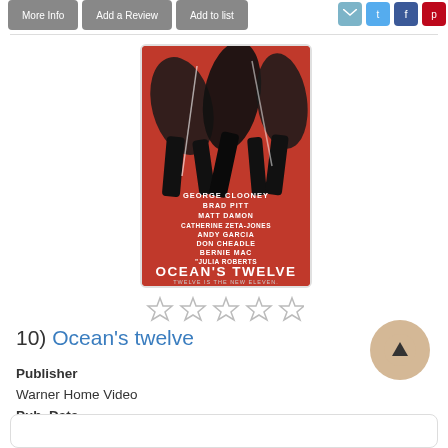[Figure (infographic): Navigation buttons: More Info, Add a Review, Add to list, plus social sharing icons for email, Twitter, Facebook, Pinterest]
[Figure (photo): Ocean's Twelve movie poster — red background with silhouetted figures, cast list including George Clooney, Brad Pitt, Matt Damon, Catherine Zeta-Jones, Andy Garcia, Don Cheadle, Bernie Mac, Julia Roberts. Title: OCEAN'S TWELVE. Tagline: TWELVE IS THE NEW ELEVEN.]
[Figure (other): Five empty star rating icons]
10)  Ocean's twelve
Publisher
Warner Home Video
Pub. Date
[2005]
Language
English